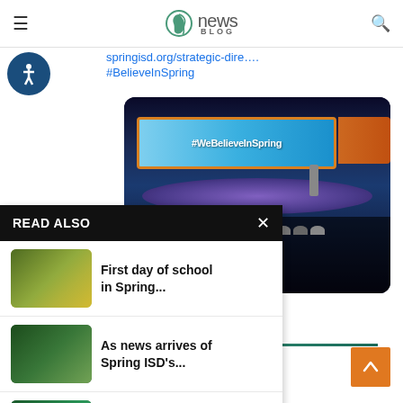S news BLOG
springisd.org/strategic-dire….
#BelieveInSpring
[Figure (photo): Stage with a large screen displaying #WeBelieveInSpring in white text on blue background with gold border, speaker on stage, audience in foreground]
READ ALSO
[Figure (photo): Thumbnail image of first day of school scene]
First day of school in Spring...
[Figure (photo): Thumbnail image related to Spring ISD news]
As news arrives of Spring ISD's...
[Figure (photo): Thumbnail image of Summer graduates in green caps and gowns]
Summer graduates of the Spring ISD...